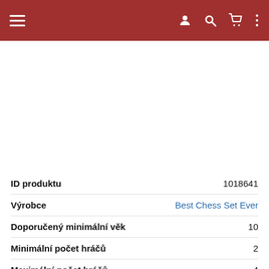Navigation bar with menu, user, search, cart, and more icons
| Attribute | Value |
| --- | --- |
| ID produktu | 1018641 |
| Výrobce | Best Chess Set Ever |
| Doporučený minimální věk | 10 |
| Minimální počet hráčů | 2 |
| Maximální počet hráčů | 4 |
| Herní doba (min.) | 15 |
| Jazyková verze | anglická |